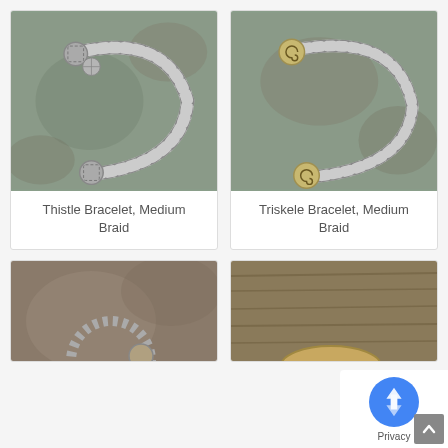[Figure (photo): Silver twisted braid bracelet with thistle-patterned end caps, photographed on a stone background]
Thistle Bracelet, Medium Braid
[Figure (photo): Silver twisted braid bracelet with triskele spiral end caps, photographed on a stone background]
Triskele Bracelet, Medium Braid
[Figure (photo): Partial view of another bracelet on stone background]
[Figure (photo): Partial view of jewelry on wood background]